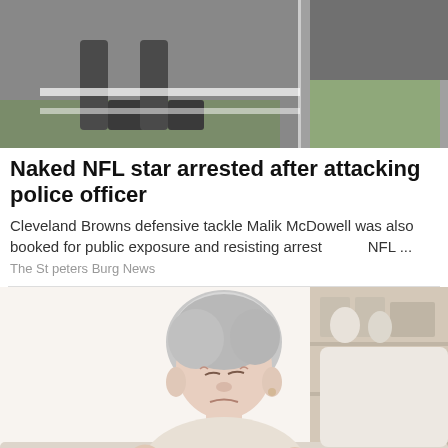[Figure (photo): Top portion of a news article image showing feet and legs of a person on grass/outdoor setting, partially cropped]
Naked NFL star arrested after attacking police officer
Cleveland Browns defensive tackle Malik McDowell was also booked for public exposure and resisting arrest    NFL ...
The St peters Burg News
[Figure (photo): Photo of an elderly woman with gray hair, appearing to be in pain, holding her wrist/hand, seated in a light-colored room with shelving in the background]